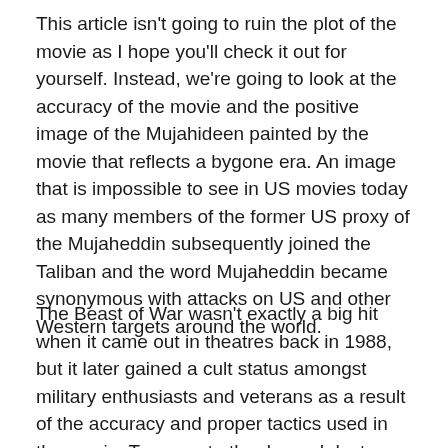This article isn't going to ruin the plot of the movie as I hope you'll check it out for yourself. Instead, we're going to look at the accuracy of the movie and the positive image of the Mujahideen painted by the movie that reflects a bygone era. An image that is impossible to see in US movies today as many members of the former US proxy of the Mujaheddin subsequently joined the Taliban and the word Mujaheddin became synonymous with attacks on US and other Western targets around the world.
The Beast of War wasn't exactly a big hit when it came out in theatres back in 1988, but it later gained a cult status amongst military enthusiasts and veterans as a result of the accuracy and proper tactics used in the movie. To recreate the dry and dusty landscape of Afghanistan, the Beast of War was filmed in Israel. As a bonus, this gave the movie producers access to authentic Soviet T-55 tanks that had been captured by Israel during the wars in 1967 and 1973.